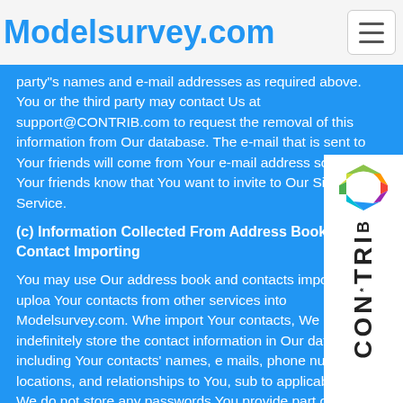Modelsurvey.com
party"s names and e-mail addresses as required above. You or the third party may contact Us at support@CONTRIB.com to request the removal of this information from Our database. The e-mail that is sent to Your friends will come from Your e-mail address so that Your friends know that You want to invite to Our Site and Service.
(c) Information Collected From Address Book and Contact Importing
You may use Our address book and contacts importer to upload Your contacts from other services into Modelsurvey.com. When import Your contacts, We may indefinitely store the contact information in Our database, including Your contacts' names, e-mails, phone numbers, locations, and relationships to You, sub to applicable law. We do not store any passwords You provide part of the contact import process. After We import Your contacts, We will use this information to help Us establish networks of contacts, document relationships, facilitate referrals, and improve Our Site and Service. We may also use this information to show You and other users that You may know each other or have shared contacts. We rely upon You to obtain whatever consents from the